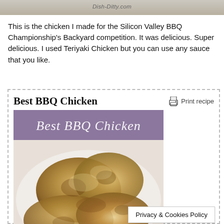[Figure (photo): Cropped food photo at top with Dish-Ditty.com watermark]
This is the chicken I made for the Silicon Valley BBQ Championship's Backyard competition. It was delicious. Super delicious. I used Teriyaki Chicken but you can use any sauce that you like.
Best BBQ Chicken
[Figure (photo): Photo of Best BBQ Chicken with purple banner overlay showing 'Best BBQ Chicken' text in italic]
Privacy & Cookies Policy